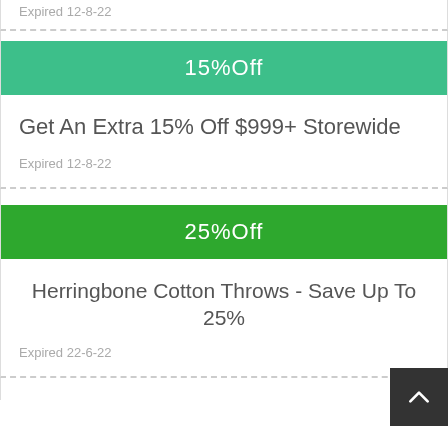Expired 12-8-22
15%Off
Get An Extra 15% Off $999+ Storewide
Expired 12-8-22
25%Off
Herringbone Cotton Throws - Save Up To 25%
Expired 22-6-22